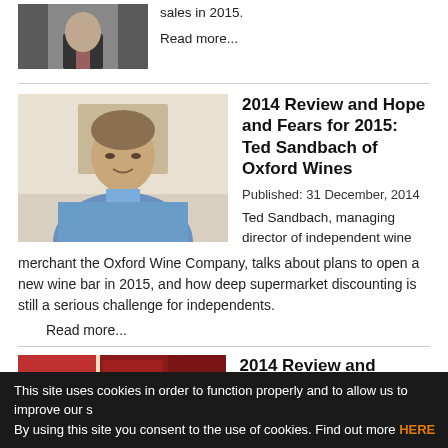[Figure (photo): Partial photo of a man in a suit with a tie, cropped at the top]
sales in 2015.
Read more...
2014 Review and Hope and Fears for 2015: Ted Sandbach of Oxford Wines
Published:  31 December, 2014
Ted Sandbach, managing director of independent wine merchant the Oxford Wine Company, talks about plans to open a new wine bar in 2015, and how deep supermarket discounting is still a serious challenge for independents.
Read more...
[Figure (photo): Partial photo showing red-colored imagery, likely wine bottles or related content]
2014 Review and Hopes
This site uses cookies in order to function properly and to allow us to improve our s By using this site you consent to the use of cookies. Find out more HERE